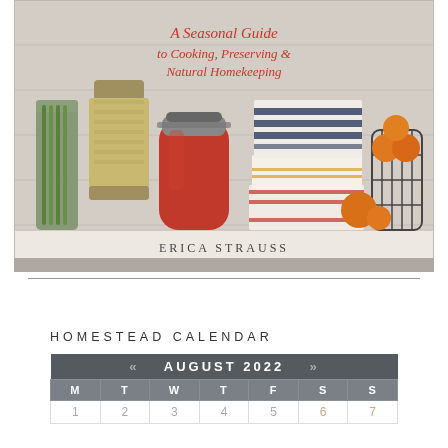[Figure (photo): Book cover photo showing mason jars with asparagus and tomato sauce, twine spool, folded striped dish cloths, and a wire basket of oranges arranged on a shelf. Handwritten-style red text reads 'A Seasonal Guide to Cooking, Preserving & Natural Homekeeping' by Erica Strauss.]
HOMESTEAD CALENDAR
| M | T | W | T | F | S | S |
| --- | --- | --- | --- | --- | --- | --- |
| 1 | 2 | 3 | 4 | 5 | 6 | 7 |